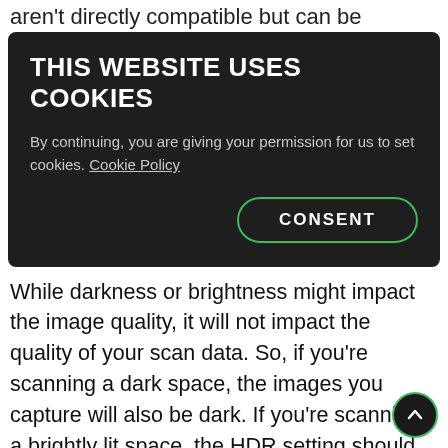aren't directly compatible but can be
[Figure (screenshot): Cookie consent modal with dark background. Title: THIS WEBSITE USES COOKIES. Body: By continuing, you are giving your permission for us to set cookies. Cookie Policy. Button: CONSENT (green outlined rounded button).]
While darkness or brightness might impact the image quality, it will not impact the quality of your scan data. So, if you're scanning a dark space, the images you capture will also be dark. If you're scanning a brightly lit space, the HDR setting should help t… the color. Dark or reflective
[Figure (screenshot): Blue Feedback button overlay at bottom left. Dark circular scroll-to-top button with green border and up arrow at bottom right.]